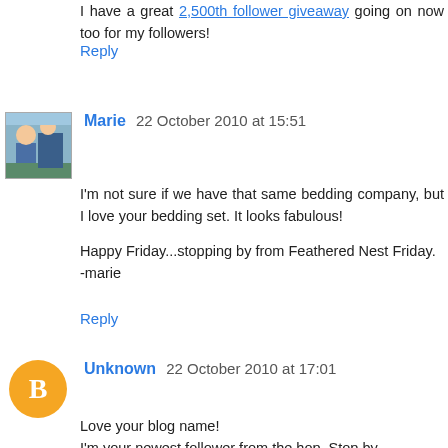I have a great 2,500th follower giveaway going on now too for my followers!
Reply
Marie  22 October 2010 at 15:51
I'm not sure if we have that same bedding company, but I love your bedding set. It looks fabulous!

Happy Friday...stopping by from Feathered Nest Friday.
-marie
Reply
Unknown  22 October 2010 at 17:01
Love your blog name!
I'm your newest follower from the hop. Stop by sometime & check us out. Be sure to join the HOP on Monday!
Have a great weekend,
Melly-